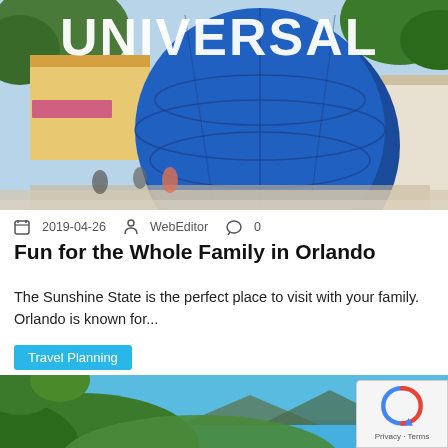[Figure (photo): Universal Studios globe sign with crowds of people, blue globe with UNIVERSAL text in gold letters, outdoor theme park setting with palm trees and buildings]
2019-04-26  WebEditor  0
Fun for the Whole Family in Orlando
The Sunshine State is the perfect place to visit with your family. Orlando is known for...
Travel Planning
[Figure (photo): Scenic coastal landscape with green hills, blue sky, and water in the background]